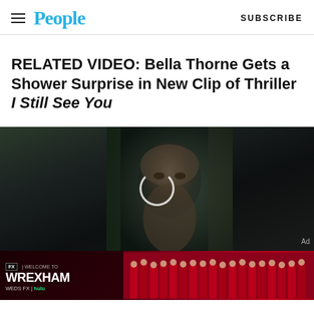People | SUBSCRIBE
RELATED VIDEO: Bella Thorne Gets a Shower Surprise in New Clip of Thriller I Still See You
[Figure (screenshot): Video player still showing a dark scene with a person's face, with a loading spinner circle in center. Below is a Welcome to Wrexham FX ad banner with team photo.]